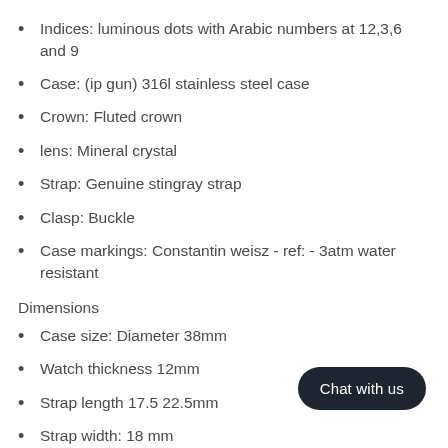Indices: luminous dots with Arabic numbers at 12,3,6 and 9
Case: (ip gun) 316l stainless steel case
Crown: Fluted crown
lens: Mineral crystal
Strap: Genuine stingray strap
Clasp: Buckle
Case markings: Constantin weisz - ref: - 3atm water resistant
Dimensions
Case size: Diameter 38mm
Watch thickness 12mm
Strap length 17.5 22.5mm
Strap width: 18 mm
Weight of watch: 70g
Weight of fully packaged product: 236g